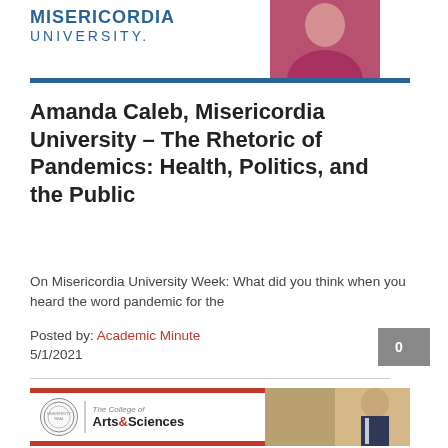[Figure (logo): Misericordia University logo with blue text and blue horizontal bar, with a photo of a woman in red on the right]
Amanda Caleb, Misericordia University – The Rhetoric of Pandemics: Health, Politics, and the Public
On Misericordia University Week: What did you think when you heard the word pandemic for the
Posted by: Academic Minute
5/1/2021
[Figure (logo): The College of Arts & Sciences banner with circular university seal and a photo of a man in a suit on the right]